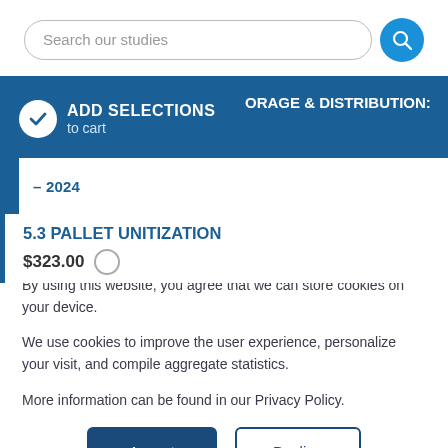Search our studies
ORAGE & DISTRIBUTION: SHRINK FILM DEMAND, 2009 – 2024
5.3 PALLET UNITIZATION
$323.00
By using this website, you agree that we can store cookies on your device.

We use cookies to improve the user experience, personalize your visit, and compile aggregate statistics.

More information can be found in our Privacy Policy.
Accept
Decline